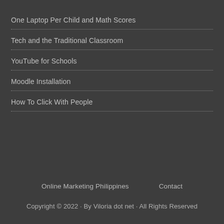One Laptop Per Child and Math Scores
Tech and the Traditional Classroom
YouTube for Schools
Moodle Installation
How To Click With People
Online Marketing Philippines    Contact
Copyright © 2022 · By Viloria dot net · All Rights Reserved